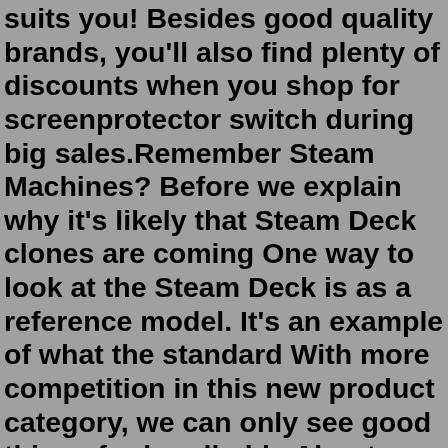suits you! Besides good quality brands, you'll also find plenty of discounts when you shop for screenprotector switch during big sales.Remember Steam Machines? Before we explain why it's likely that Steam Deck clones are coming One way to look at the Steam Deck is as a reference model. It's an example of what the standard With more competition in this new product category, we can only see good things for handheld...About Press Copyright Contact us Creators Advertise Developers Terms Privacy Policy & Safety How YouTube works Test new features Press Copyright Contact us Creators ... Looking for Steam backgrounds? On our website you will find everything for a beautiful Steam profile design! Lists of backgrounds, badges, emoticons, guides and much more!The deck of my dreams. Our bathroom upgrade. Serve my drinks in style. The best part of Pinterest is discovering new things and ideas from people around the world.256GB. FYI, any screen protector will reduce the effectiveness of the matte etched glass on the 512GB model. 1. level 2. Op · 2